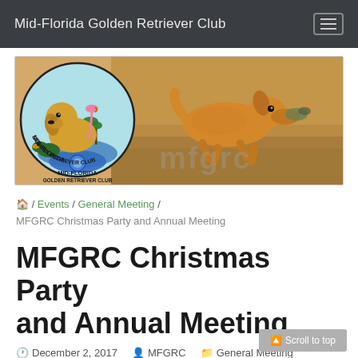Mid-Florida Golden Retriever Club
[Figure (logo): Mid-Florida Golden Retriever Club banner with circular club logo on left (golden retriever with flamingo and duck, blue ribbon, palm trees, text MID-FLORIDA GOLDEN RETRIEVER CLUB) and a golden retriever dog running with a bird in its mouth on the right, with MFGRC watermark text overlay]
🏠 / Events / General Meeting / MFGRC Christmas Party and Annual Meeting
MFGRC Christmas Party and Annual Meeting
December 2, 2017   MFGRC   General Meeting